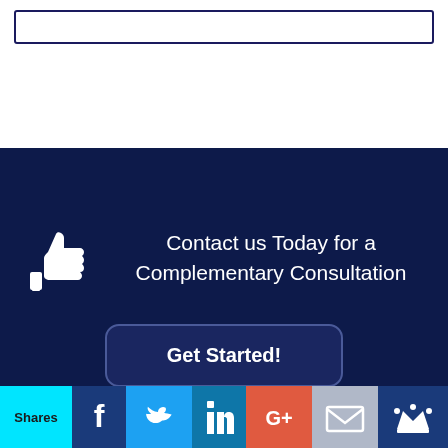[Figure (screenshot): Empty input/text box with dark navy border at the top of the page]
Contact us Today for a Complementary Consultation
Get Started!
Shares | Facebook | Twitter | LinkedIn | Google+ | Mail | Crown